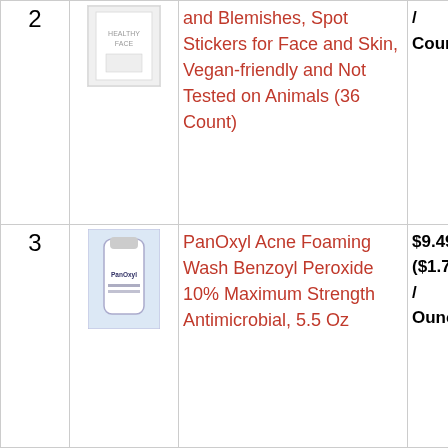| # | Image | Product | Price | Action |
| --- | --- | --- | --- | --- |
| 2 | [product image] | and Blemishes, Spot Stickers for Face and Skin, Vegan-friendly and Not Tested on Animals (36 Count) | / Count) | Am |
| 3 | [product image] | PanOxyl Acne Foaming Wash Benzoyl Peroxide 10% Maximum Strength Antimicrobial, 5.5 Oz | $9.49 ($1.73 / Ounce) | Bu Am |